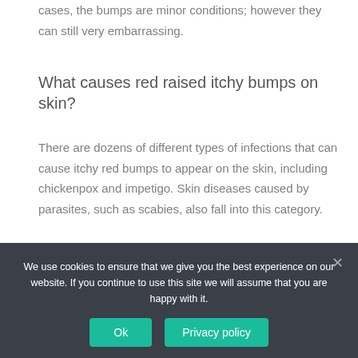cases, the bumps are minor conditions; however they can still very embarrassing.
What causes red raised itchy bumps on skin?
There are dozens of different types of infections that can cause itchy red bumps to appear on the skin, including chickenpox and impetigo. Skin diseases caused by parasites, such as scabies, also fall into this category.
What causes red bumps on the back of a child's head?
We use cookies to ensure that we give you the best experience on our website. If you continue to use this site we will assume that you are happy with it.